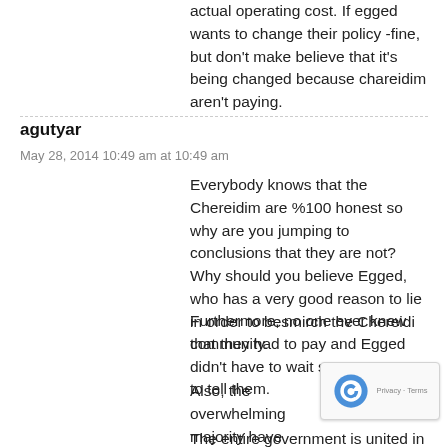actual operating cost. If egged wants to change their policy -fine, but don't make believe that it's being changed because chareidim aren't paying.
agutyar
May 28, 2014 10:49 am at 10:49 am
Everybody knows that the Chereidim are %100 honest so why are you jumping to conclusions that they are not? Why should you believe Egged, who has a very good reason to lie in order to besmirch the Chereidi community.
Furthermore, no one ever knew that they had to pay and Egged didn't have to wait so many years to tell them.
Also, the overwhelming majority have monthly bus passes so Egged lost nothing on those people.
The entire government is united in trying to make it as difficult for the Chareidim as possible and that's the